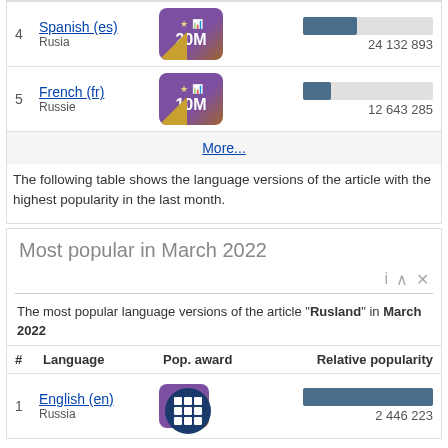| # | Language | Pop. award | Relative popularity |
| --- | --- | --- | --- |
| 4 | Spanish (es)
Rusia | 20M | 24 132 893 |
| 5 | French (fr)
Russie | 10M | 12 643 285 |
More...
The following table shows the language versions of the article with the highest popularity in the last month.
Most popular in March 2022
The most popular language versions of the article "Rusland" in March 2022
| # | Language | Pop. award | Relative popularity |
| --- | --- | --- | --- |
| 1 | English (en)
Russia |  | 2 446 223 |